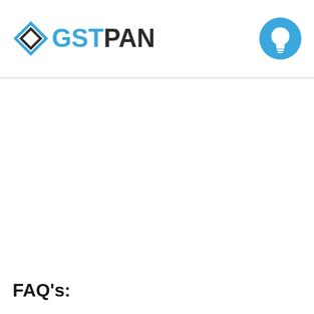[Figure (logo): GSTPAN logo with diamond/rhombus icon in blue and black, and a light bulb icon circle on the right]
FAQ's: